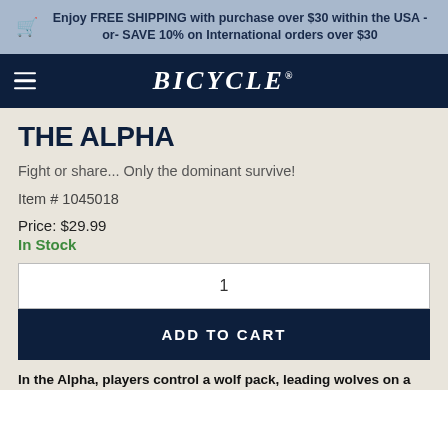Enjoy FREE SHIPPING with purchase over $30 within the USA -or- SAVE 10% on International orders over $30
BICYCLE
THE ALPHA
Fight or share... Only the dominant survive!
Item # 1045018
Price: $29.99
In Stock
1
ADD TO CART
In the Alpha, players control a wolf pack, leading wolves on a